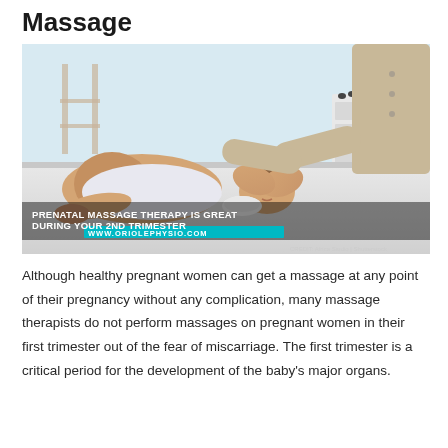Massage
[Figure (photo): A pregnant woman lying on a massage table receiving a prenatal head massage from a therapist in a spa setting. Text overlay reads: PRENATAL MASSAGE THERAPY IS GREAT DURING YOUR 2ND TRIMESTER, WWW.ORIOLEPHYSIO.COM. Credit: Africa Studio | Shutterstock]
Although healthy pregnant women can get a massage at any point of their pregnancy without any complication, many massage therapists do not perform massages on pregnant women in their first trimester out of the fear of miscarriage. The first trimester is a critical period for the development of the baby's major organs.